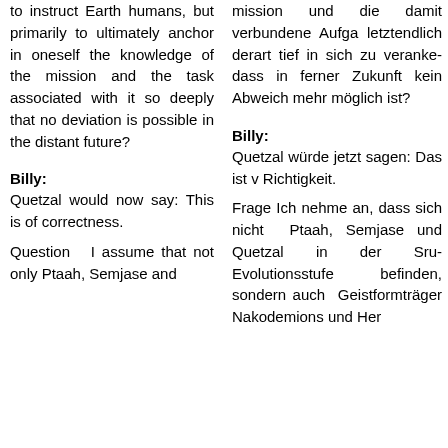to instruct Earth humans, but primarily to ultimately anchor in oneself the knowledge of the mission and the task associated with it so deeply that no deviation is possible in the distant future?
mission und die damit verbundene Aufgabe letztendlich derart tief in sich zu verankern, dass in ferner Zukunft kein Abweichen mehr möglich ist?
Billy:
Billy:
Quetzal would now say: This is of correctness.
Quetzal würde jetzt sagen: Das ist von Richtigkeit.
Question I assume that not only Ptaah, Semjase and
Frage Ich nehme an, dass sich nicht nur Ptaah, Semjase und Quetzal in der Srut-Evolutionsstufe befinden, sondern auch die Geistformträger Nakodemions und Her